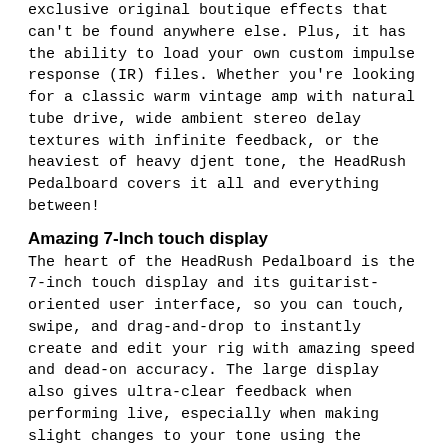exclusive original boutique effects that can't be found anywhere else. Plus, it has the ability to load your own custom impulse response (IR) files. Whether you're looking for a classic warm vintage amp with natural tube drive, wide ambient stereo delay textures with infinite feedback, or the heaviest of heavy djent tone, the HeadRush Pedalboard covers it all and everything between!
Amazing 7-Inch touch display
The heart of the HeadRush Pedalboard is the 7-inch touch display and its guitarist-oriented user interface, so you can touch, swipe, and drag-and-drop to instantly create and edit your rig with amazing speed and dead-on accuracy. The large display also gives ultra-clear feedback when performing live, especially when making slight changes to your tone using the 'Hands-Free Mode'. Everything about the HeadRush Pedalboard is designed to make it simple, fast and intuitive to jump right in and create amazing sounding rigs in seconds.
Exclusive features
The HeadRush Pedalboard also delivers long-awaited